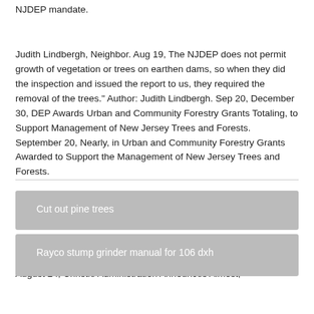NJDEP mandate.
Judith Lindbergh, Neighbor. Aug 19, The NJDEP does not permit growth of vegetation or trees on earthen dams, so when they did the inspection and issued the report to us, they required the removal of the trees." Author: Judith Lindbergh. Sep 20, December 30, DEP Awards Urban and Community Forestry Grants Totaling, to Support Management of New Jersey Trees and Forests. September 20, Nearly, in Urban and Community Forestry Grants Awarded to Support the Management of New Jersey Trees and Forests.
August 24, Christie Administration Announces Almost,
Cut out pine trees
Rayco stump grinder manual for 106 dxh